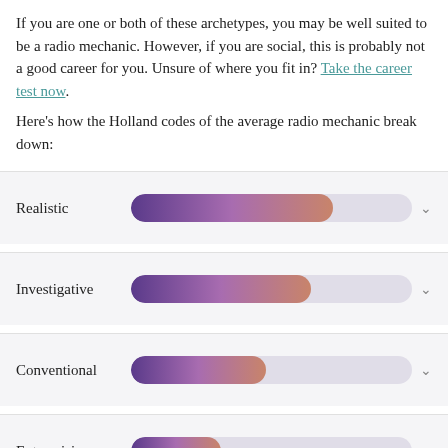If you are one or both of these archetypes, you may be well suited to be a radio mechanic. However, if you are social, this is probably not a good career for you. Unsure of where you fit in? Take the career test now.
Here's how the Holland codes of the average radio mechanic break down:
[Figure (bar-chart): Holland Codes for Radio Mechanic]